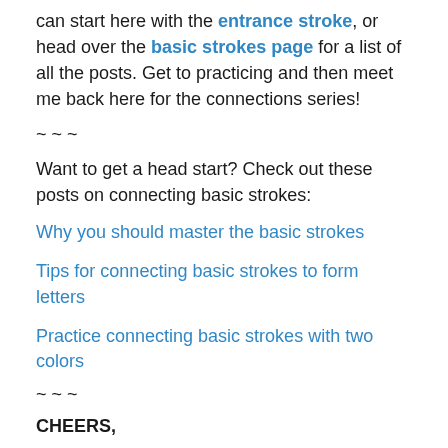can start here with the entrance stroke, or head over the basic strokes page for a list of all the posts. Get to practicing and then meet me back here for the connections series!
~ ~ ~
Want to get a head start? Check out these posts on connecting basic strokes:
Why you should master the basic strokes
Tips for connecting basic strokes to form letters
Practice connecting basic strokes with two colors
~ ~ ~
CHEERS,